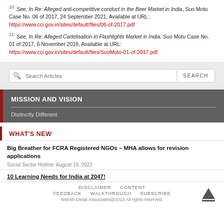10 See, In Re: Alleged anti-competitive conduct in the Beer Market in India, Suo Motu Case No. 06 of 2017, 24 September 2021, Available at URL: https://www.cci.gov.in/sites/default/files/06-of-2017.pdf
11 See, In Re: Alleged Cartelisation in Flashlights Market in India, Suo Motu Case No. 01 of 2017, 6 November 2018, Available at URL: https://www.cci.gov.in/sites/default/files/SuoMoto-01-of-2017.pdf
[Figure (screenshot): Search Articles input bar with SEARCH button]
MISSION AND VISION
Distinctly Different
WHAT'S NEW
Big Breather for FCRA Registered NGOs – MHA allows for revision applications
Social Sector Hotline: August 19, 2022
10 Learning Needs for India at 2047!
DISCLAIMER   CONTENT   FEEDBACK   WALKTHROUGH   SUBSCRIBE
Nishith Desai Associates@2016 All rights reserved.